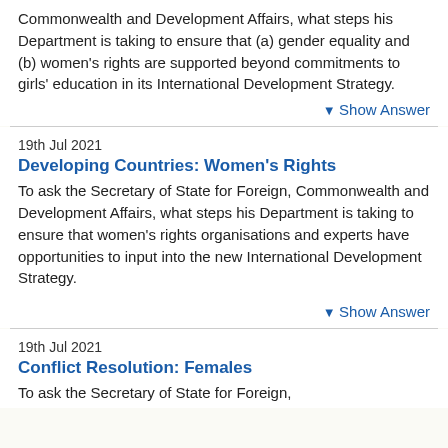Commonwealth and Development Affairs, what steps his Department is taking to ensure that (a) gender equality and (b) women's rights are supported beyond commitments to girls' education in its International Development Strategy.
▼ Show Answer
19th Jul 2021
Developing Countries: Women's Rights
To ask the Secretary of State for Foreign, Commonwealth and Development Affairs, what steps his Department is taking to ensure that women's rights organisations and experts have opportunities to input into the new International Development Strategy.
▼ Show Answer
19th Jul 2021
Conflict Resolution: Females
To ask the Secretary of State for Foreign,